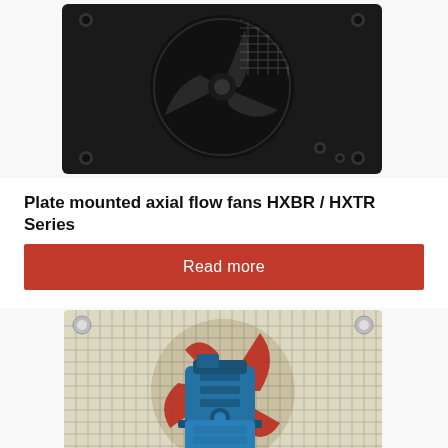[Figure (photo): Plate mounted axial flow fan with dark/black housing and blade guard, viewed from front. HXBR/HXTR series product photo.]
Plate mounted axial flow fans HXBR / HXTR Series
Read more
[Figure (photo): Plate mounted axial flow fan with transparent/grey mounting plate, red fan blades visible behind wire mesh guard, blue electric motor prominently shown in front. Industrial fan product photo.]